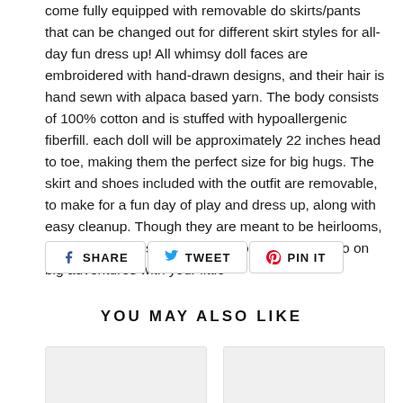come fully equipped with removable do skirts/pants that can be changed out for different skirt styles for all-day fun dress up! All whimsy doll faces are embroidered with hand-drawn designs, and their hair is hand sewn with alpaca based yarn. The body consists of 100% cotton and is stuffed with hypoallergenic fiberfill. each doll will be approximately 22 inches head to toe, making them the perfect size for big hugs. The skirt and shoes included with the outfit are removable, to make for a fun day of play and dress up, along with easy cleanup. Though they are meant to be heirlooms, we are proud to say they are strong enough to go on big adventures with your little
SHARE  TWEET  PIN IT
YOU MAY ALSO LIKE
[Figure (photo): Two product placeholder image cards side by side]